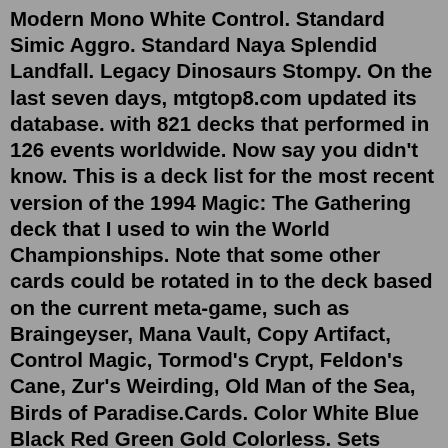Modern Mono White Control. Standard Simic Aggro. Standard Naya Splendid Landfall. Legacy Dinosaurs Stompy. On the last seven days, mtgtop8.com updated its database. with 821 decks that performed in 126 events worldwide. Now say you didn't know. This is a deck list for the most recent version of the 1994 Magic: The Gathering deck that I used to win the World Championships. Note that some other cards could be rotated in to the deck based on the current meta-game, such as Braingeyser, Mana Vault, Copy Artifact, Control Magic, Tormod's Crypt, Feldon's Cane, Zur's Weirding, Old Man of the Sea, Birds of Paradise.Cards. Color White Blue Black Red Green Gold Colorless. Sets Game Nights Free-for-All (GN3) Universes Beyond: Warhammer 40K (40K) Unfinity (UNF) Dominaria United: Commander (DMC) Dominaria United (DMU) Double Masters 2022 (2X2) Alchemy Horizons: Baldur's Gate (HBG) Commander Legends: Battle for Baldur's Gate (CLB) Streets of New Capenna ...Possibly the world's